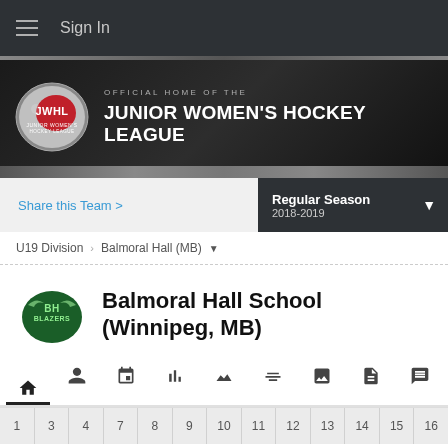Sign In
[Figure (logo): JWHL - Junior Women's Hockey League banner logo with text: OFFICIAL HOME OF THE JUNIOR WOMEN'S HOCKEY LEAGUE]
Share this Team >
Regular Season 2018-2019
U19 Division > Balmoral Hall (MB)
Balmoral Hall School (Winnipeg, MB)
1 3 4 7 8 9 10 11 12 13 14 15 16